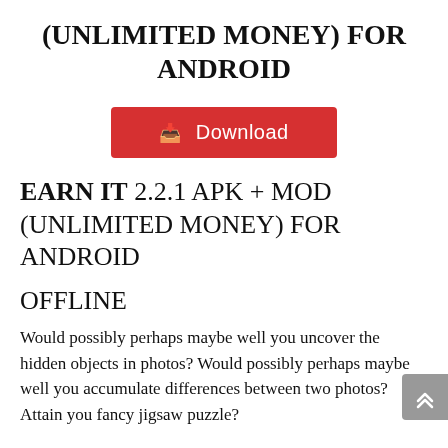(UNLIMITED MONEY) FOR ANDROID
[Figure (other): Red download button with download icon and text 'Download']
EARN IT 2.2.1 APK + MOD (UNLIMITED MONEY) FOR ANDROID
OFFLINE
Would possibly perhaps maybe well you uncover the hidden objects in photos? Would possibly perhaps maybe well you accumulate differences between two photos? Attain you fancy jigsaw puzzle?